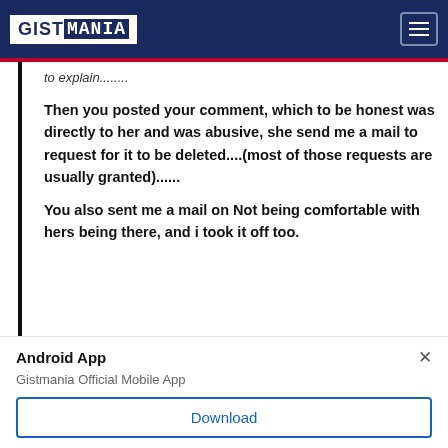GISTMANIA
to explain........
Then you posted your comment, which to be honest was directly to her and was abusive, she send me a mail to request for it to be deleted....(most of those requests are usually granted)......
You also sent me a mail on Not being comfortable with hers being there, and i took it off too.
Android App
Gistmania Official Mobile App
Download